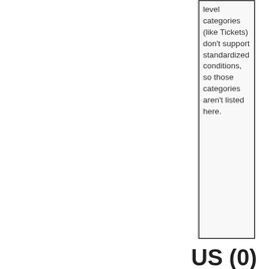level categories (like Tickets) don't support standardized conditions, so those categories aren't listed here.
US (0)